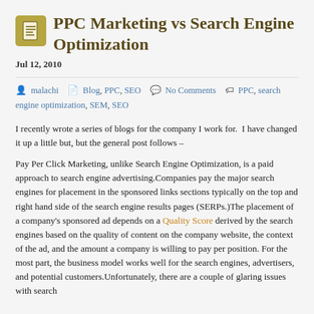PPC Marketing vs Search Engine Optimization
Jul 12, 2010
malachi   Blog, PPC, SEO   No Comments   PPC, search engine optimization, SEM, SEO
I recently wrote a series of blogs for the company I work for.  I have changed it up a little but, but the general post follows –
Pay Per Click Marketing, unlike Search Engine Optimization, is a paid approach to search engine advertising.Companies pay the major search engines for placement in the sponsored links sections typically on the top and right hand side of the search engine results pages (SERPs.)The placement of a company's sponsored ad depends on a Quality Score derived by the search engines based on the quality of content on the company website, the context of the ad, and the amount a company is willing to pay per position. For the most part, the business model works well for the search engines, advertisers, and potential customers.Unfortunately, there are a couple of glaring issues with search